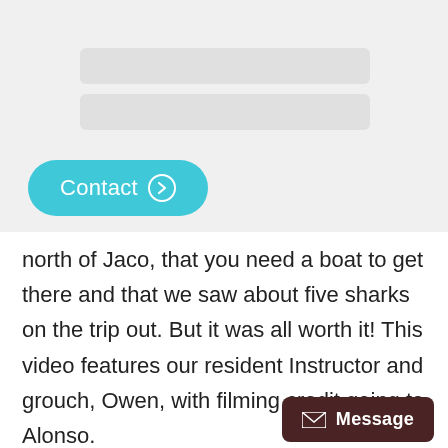[Figure (screenshot): UI form area with two input fields shown as gray rounded rectangles, on a light gray background]
[Figure (screenshot): Teal rounded 'Contact' button with right-arrow circle icon]
north of Jaco, that you need a boat to get there and that we saw about five sharks on the trip out. But it was all worth it! This video features our resident Instructor and grouch, Owen, with filming credit going to Alonso.
[Figure (screenshot): Dark brown 'Message' button with envelope icon in bottom right corner]